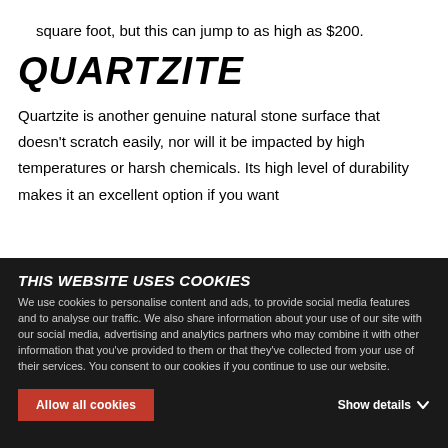square foot, but this can jump to as high as $200.
QUARTZITE
Quartzite is another genuine natural stone surface that doesn't scratch easily, nor will it be impacted by high temperatures or harsh chemicals. Its high level of durability makes it an excellent option if you want
THIS WEBSITE USES COOKIES
We use cookies to personalise content and ads, to provide social media features and to analyse our traffic. We also share information about your use of our site with our social media, advertising and analytics partners who may combine it with other information that you've provided to them or that they've collected from your use of their services. You consent to our cookies if you continue to use our website.
Allow all cookies
Show details